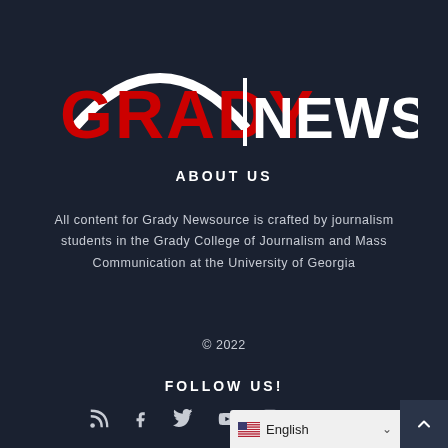[Figure (logo): Grady Newsource logo — white arc above 'GRADY' in red bold text, a vertical white divider, and 'NEWSOURCE' in white bold text]
ABOUT US
All content for Grady Newsource is crafted by journalism students in the Grady College of Journalism and Mass Communication at the University of Georgia
© 2022
FOLLOW US!
[Figure (illustration): Social media icons: RSS feed, Facebook, Twitter, YouTube, Instagram]
English